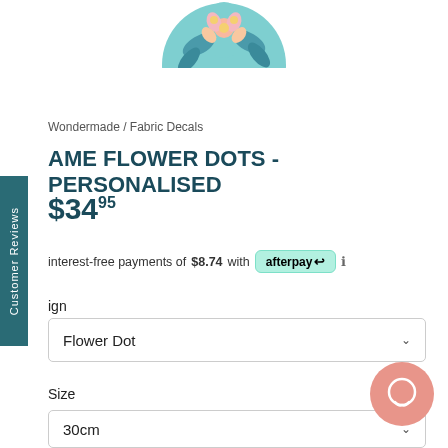[Figure (illustration): Partial floral circle illustration at the top center of the page, showing tropical flowers and leaves in pink and blue-green tones]
Wondermade / Fabric Decals
AME FLOWER DOTS - PERSONALISED
$34.95
interest-free payments of $8.74 with afterpay
ign
Flower Dot
Size
30cm